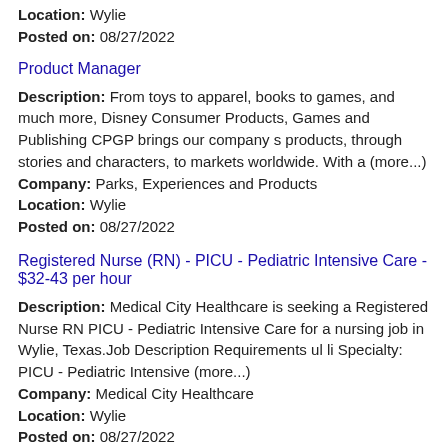Location: Wylie
Posted on: 08/27/2022
Product Manager
Description: From toys to apparel, books to games, and much more, Disney Consumer Products, Games and Publishing CPGP brings our company s products, through stories and characters, to markets worldwide. With a (more...)
Company: Parks, Experiences and Products
Location: Wylie
Posted on: 08/27/2022
Registered Nurse (RN) - PICU - Pediatric Intensive Care - $32-43 per hour
Description: Medical City Healthcare is seeking a Registered Nurse RN PICU - Pediatric Intensive Care for a nursing job in Wylie, Texas.Job Description Requirements ul li Specialty: PICU - Pediatric Intensive (more...)
Company: Medical City Healthcare
Location: Wylie
Posted on: 08/27/2022
Senior Software Engineer; Backend; Remote Eligible
Description: Center 1 19052 , United States of America, McLean,